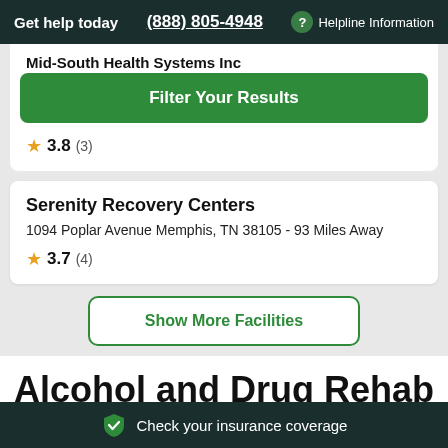Get help today  (888) 805-4948  ? Helpline Information
Mid-South Health Systems Inc
[Figure (other): Green Filter Your Results button]
3.8 (3)
Serenity Recovery Centers
1094 Poplar Avenue Memphis, TN 38105 - 93 Miles Away
3.7 (4)
[Figure (other): Show More Facilities button (outlined green)]
Alcohol and Drug Rehab
Check your insurance coverage